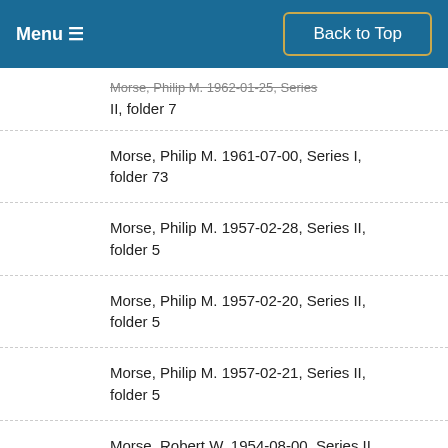Menu ≡   Back to Top
Morse, Philip M. 1961-07-00, Series I, folder 7 (partial, truncated at top)
Morse, Philip M. 1961-07-00, Series I, folder 73
Morse, Philip M. 1957-02-28, Series II, folder 5
Morse, Philip M. 1957-02-20, Series II, folder 5
Morse, Philip M. 1957-02-21, Series II, folder 5
Morse, Robert W. 1954-08-00, Series II, folder 4
Newman, J. A. 1959-12-01, Series II, folder 6
Newman, J. A. 1960-02-09, Series II, (partial, truncated at bottom)